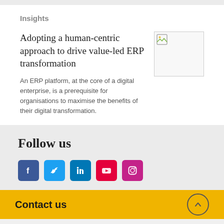Insights
Adopting a human-centric approach to drive value-led ERP transformation
[Figure (photo): Thumbnail image placeholder (broken image icon) for the article about ERP transformation]
An ERP platform, at the core of a digital enterprise, is a prerequisite for organisations to maximise the benefits of their digital transformation.
Follow us
[Figure (infographic): Social media icons: Facebook (blue), Twitter (light blue), LinkedIn (blue), YouTube (red), Instagram (magenta/pink)]
Contact us